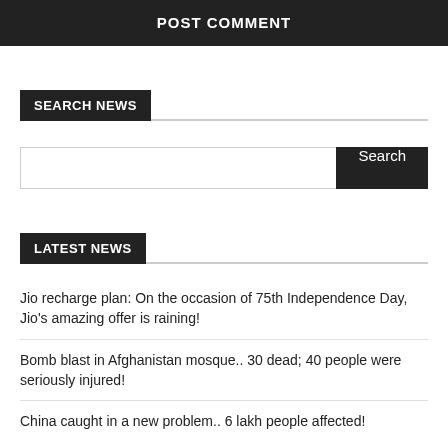POST COMMENT
SEARCH NEWS
Search
LATEST NEWS
Jio recharge plan: On the occasion of 75th Independence Day, Jio's amazing offer is raining!
Bomb blast in Afghanistan mosque.. 30 dead; 40 people were seriously injured!
China caught in a new problem.. 6 lakh people affected!